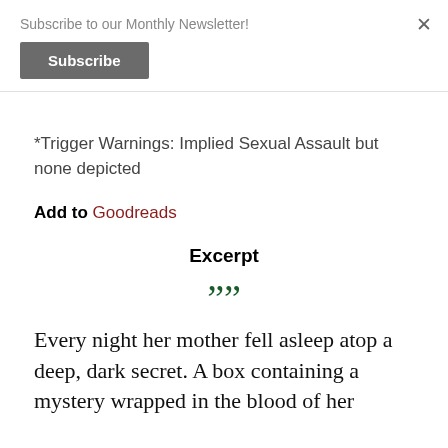Subscribe to our Monthly Newsletter!
Subscribe
×
*Trigger Warnings: Implied Sexual Assault but none depicted
Add to Goodreads
Excerpt
””
Every night her mother fell asleep atop a deep, dark secret. A box containing a mystery wrapped in the blood of her